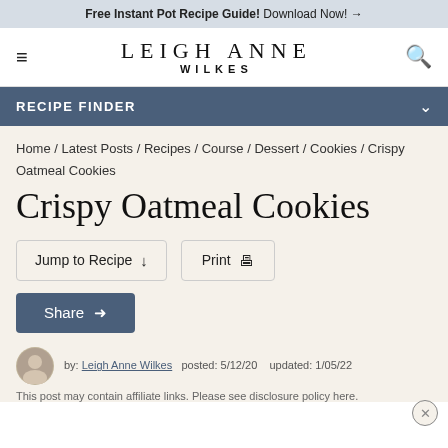Free Instant Pot Recipe Guide! Download Now! →
LEIGH ANNE WILKES
RECIPE FINDER
Home / Latest Posts / Recipes / Course / Dessert / Cookies / Crispy Oatmeal Cookies
Crispy Oatmeal Cookies
Jump to Recipe ↓   Print 🖨
Share
by: Leigh Anne Wilkes   posted: 5/12/20   updated: 1/05/22
This post may contain affiliate links. Please see disclosure policy here.